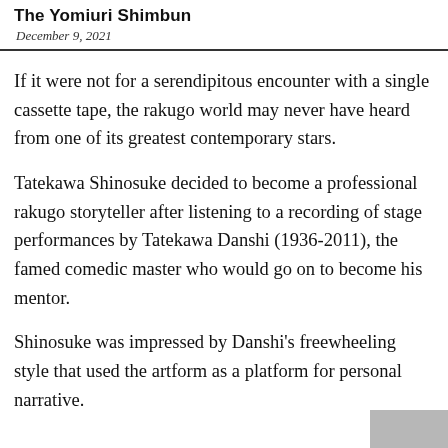The Yomiuri Shimbun
December 9, 2021
If it were not for a serendipitous encounter with a single cassette tape, the rakugo world may never have heard from one of its greatest contemporary stars.
Tatekawa Shinosuke decided to become a professional rakugo storyteller after listening to a recording of stage performances by Tatekawa Danshi (1936-2011), the famed comedic master who would go on to become his mentor.
Shinosuke was impressed by Danshi's freewheeling style that used the artform as a platform for personal narrative.